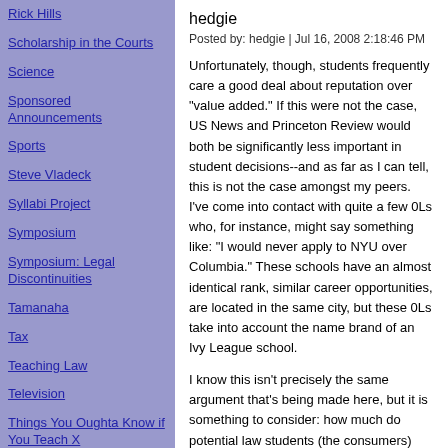Rick Hills
Scholarship in the Courts
Science
Sponsored Announcements
Sports
Steve Vladeck
Syllabi Project
Symposium
Symposium: Legal Discontinuities
Tamanaha
Tax
Teaching Law
Television
Things You Oughta Know if You Teach X
hedgie
Posted by: hedgie | Jul 16, 2008 2:18:46 PM
Unfortunately, though, students frequently care a good deal about reputation over "value added." If this were not the case, US News and Princeton Review would both be significantly less important in student decisions--and as far as I can tell, this is not the case amongst my peers. I've come into contact with quite a few 0Ls who, for instance, might say something like: "I would never apply to NYU over Columbia." These schools have an almost identical rank, similar career opportunities, are located in the same city, but these 0Ls take into account the name brand of an Ivy League school.
I know this isn't precisely the same argument that's being made here, but it is something to consider: how much do potential law students (the consumers) care about "quality" versus "reputation"?